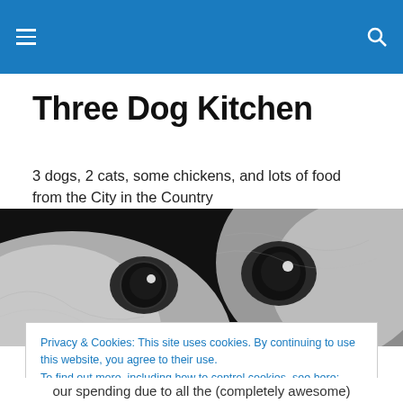Three Dog Kitchen — site header navigation bar
Three Dog Kitchen
3 dogs, 2 cats, some chickens, and lots of food from the City in the Country
[Figure (photo): Close-up photo of a white dog's eyes and forehead against a dark background]
Privacy & Cookies: This site uses cookies. By continuing to use this website, you agree to their use.
To find out more, including how to control cookies, see here: Cookie Policy
our spending due to all the (completely awesome)